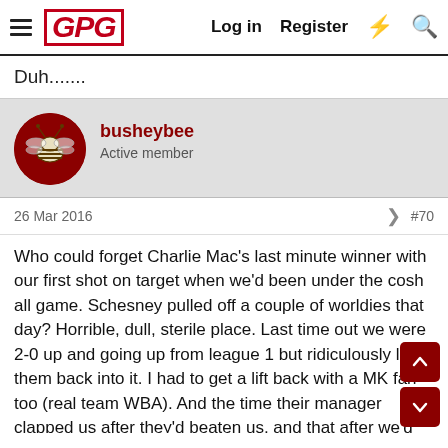GPG | Log in | Register
Duh.......
busheybee
Active member
26 Mar 2016  #70
Who could forget Charlie Mac's last minute winner with our first shot on target when we'd been under the cosh all game. Schesney pulled off a couple of worldies that day? Horrible, dull, sterile place. Last time out we were 2-0 up and going up from league 1 but ridiculously let them back into it. I had to get a lift back with a MK fan too (real team WBA). And the time their manager clapped us after they'd beaten us, and that after we'd dampened him with beer at our place and sent up loads of balloons in his name. Rosler was pi""ed off with Trotta one time too and got the reserve striker (Wright-